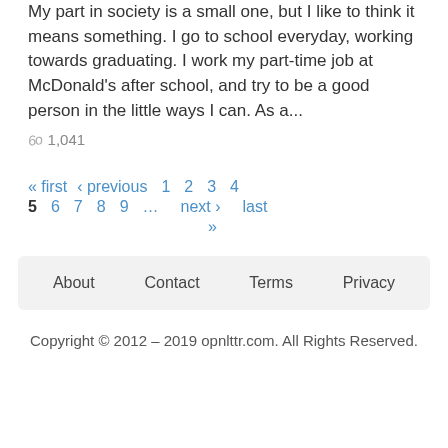My part in society is a small one, but I like to think it means something. I go to school everyday, working towards graduating. I work my part-time job at McDonald's after school, and try to be a good person in the little ways I can. As a...
1,041
« first ‹ previous 1 2 3 4 5 6 7 8 9 ... next › last »
About  Contact  Terms  Privacy
Copyright © 2012 – 2019 opnlttr.com. All Rights Reserved.